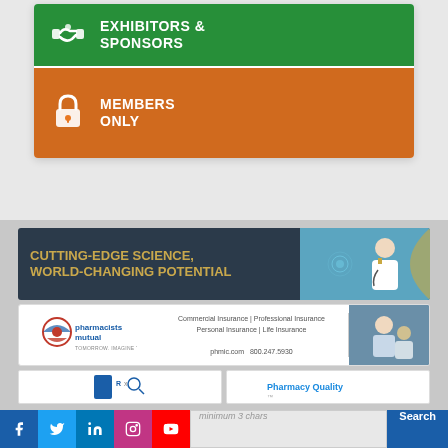[Figure (infographic): Green banner with handshake icon and text EXHIBITORS & SPONSORS]
[Figure (infographic): Orange banner with lock icon and text MEMBERS ONLY]
[Figure (infographic): Dark navy ad banner: CUTTING-EDGE SCIENCE, WORLD-CHANGING POTENTIAL with doctor image]
[Figure (infographic): Pharmacists Mutual insurance ad with logo, services text, and photo]
[Figure (infographic): Two small partial ad banners at bottom]
Facebook Twitter LinkedIn Instagram YouTube | minimum 3 chars Search